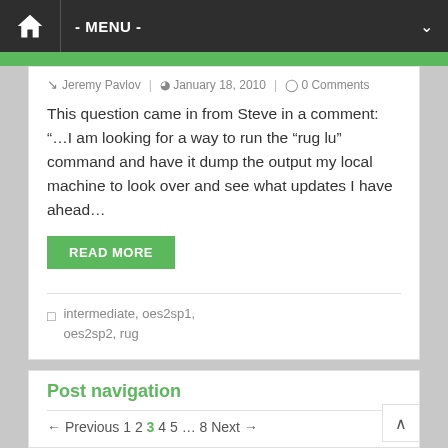- MENU -
Jeremy Pavlov | January 18, 2010 | 0 Comments
This question came in from Steve in a comment:  “…I am looking for a way to run the “rug lu” command and have it dump the output my local machine to look over and see what updates I have ahead…
READ MORE
intermediate, oes2sp1, oes2sp2, rug
Post navigation
← Previous 1 2 3 4 5 … 8 Next →